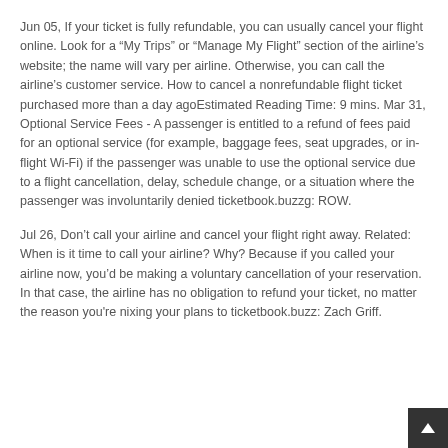Jun 05, If your ticket is fully refundable, you can usually cancel your flight online. Look for a “My Trips” or “Manage My Flight” section of the airline’s website; the name will vary per airline. Otherwise, you can call the airline’s customer service. How to cancel a nonrefundable flight ticket purchased more than a day agoEstimated Reading Time: 9 mins. Mar 31, Optional Service Fees - A passenger is entitled to a refund of fees paid for an optional service (for example, baggage fees, seat upgrades, or in-flight Wi-Fi) if the passenger was unable to use the optional service due to a flight cancellation, delay, schedule change, or a situation where the passenger was involuntarily denied ticketbook.buzzg: ROW.
Jul 26, Don’t call your airline and cancel your flight right away. Related: When is it time to call your airline? Why? Because if you called your airline now, you’d be making a voluntary cancellation of your reservation. In that case, the airline has no obligation to refund your ticket, no matter the reason you're nixing your plans to ticketbook.buzz: Zach Griff.